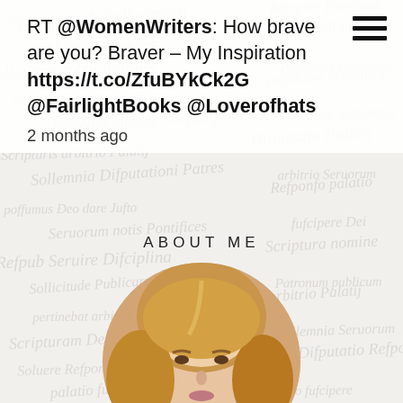[Figure (screenshot): Hamburger menu icon (three horizontal lines) in top-right corner of a website]
RT @WomenWriters: How brave are you? Braver – My Inspiration https://t.co/ZfuBYkCk2G @FairlightBooks @Loverofhats
2 months ago
ABOUT ME
[Figure (photo): Circular cropped headshot portrait of a woman with blonde bob hair, looking directly at camera, wearing a light blue top]